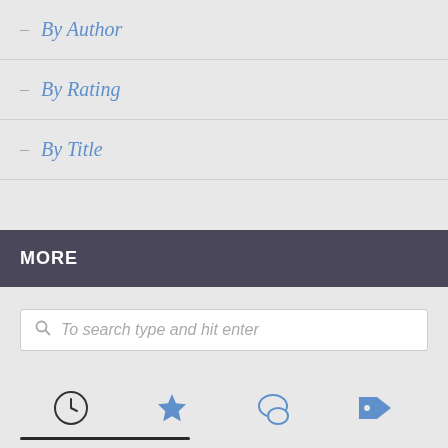– By Author
– By Rating
– By Title
MORE
To search type and hit enter
[Figure (infographic): Bottom navigation bar with four icons: clock/history, star/favorites, chat/comments, tag/labels]